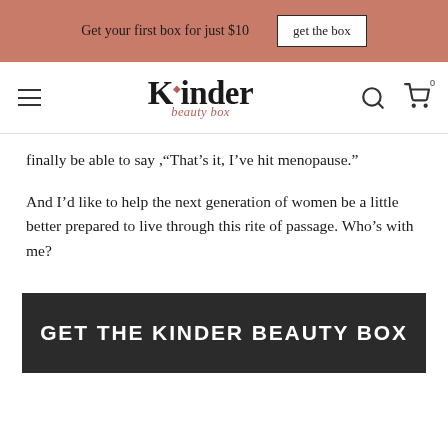Get your first box for just $10  [get the box]
[Figure (logo): Kinder Beauty Box logo with navigation hamburger menu, search icon, and cart icon]
finally be able to say ,“That’s it, I’ve hit menopause.”
And I’d like to help the next generation of women be a little better prepared to live through this rite of passage. Who’s with me?
[Figure (infographic): Dark banner button reading GET THE KINDER BEAUTY BOX]